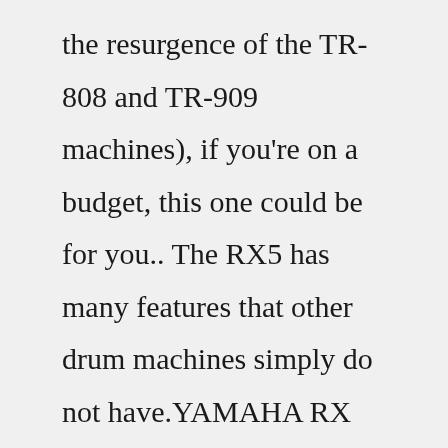the resurgence of the TR-808 and TR-909 machines), if you're on a budget, this one could be for you.. The RX5 has many features that other drum machines simply do not have.YAMAHA RX 100 has an average mileage of 40 km/l. It's really good in a bike of 1985.The fuel tank can store 10.5 liters at a time and that's also impressive. You can't expect a big mileage from this type of bike but its comparatively